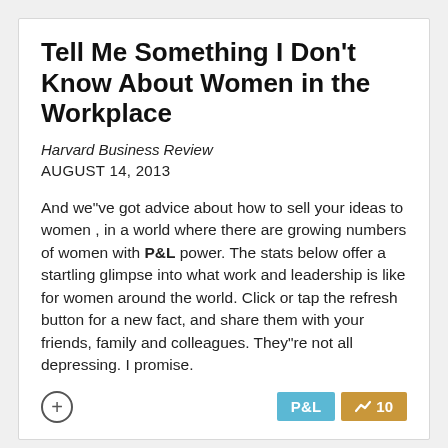Tell Me Something I Don't Know About Women in the Workplace
Harvard Business Review
AUGUST 14, 2013
And we"ve got advice about how to sell your ideas to women , in a world where there are growing numbers of women with P&L power. The stats below offer a startling glimpse into what work and leadership is like for women around the world. Click or tap the refresh button for a new fact, and share them with your friends, family and colleagues. They"re not all depressing. I promise.
[Figure (infographic): Advertisement banner: REDUCE TURNOVER WITH EMPLOYEE BENEFITS - The HR Playbook, with workplace photos on left and right sides]